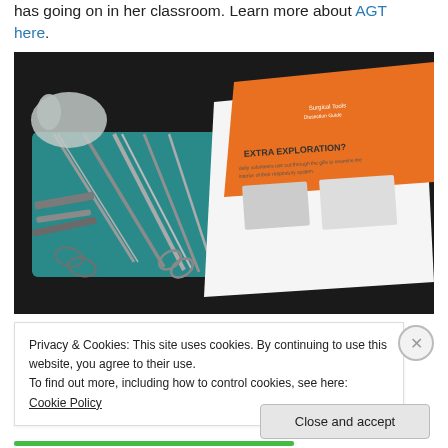has going on in her classroom. Learn more about AGT here.
[Figure (photo): Photo of surgical/dissection tools on a teal tray on a dark surface, alongside printed worksheets including one titled 'EXTRA EXPLORATION?' with anatomical diagrams, and an orange folder in the background.]
Privacy & Cookies: This site uses cookies. By continuing to use this website, you agree to their use.
To find out more, including how to control cookies, see here: Cookie Policy
Close and accept